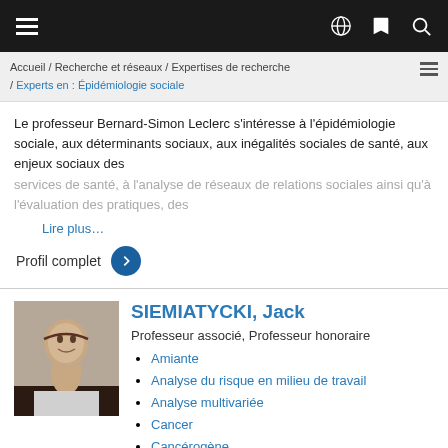Navigation bar with hamburger menu, globe, bookmark, and search icons
Accueil / Recherche et réseaux / Expertises de recherche / Experts en : Épidémiologie sociale
Le professeur Bernard-Simon Leclerc s'intéresse à l'épidémiologie sociale, aux déterminants sociaux, aux inégalités sociales de santé, aux enjeux sociaux des services de santé, à l'analyse de réseaux de relations sociales ainsi qu'à l'évaluation des pratiques, des
Lire plus…
Profil complet
SIEMIATYCKI, Jack
Professeur associé, Professeur honoraire
Amiante
Analyse du risque en milieu de travail
Analyse multivariée
Cancer
Cancérogène